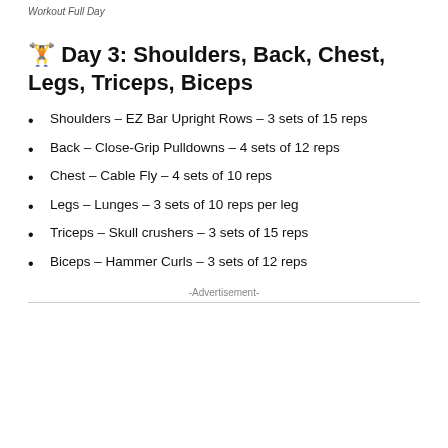Workout Full Day
🏋 Day 3: Shoulders, Back, Chest, Legs, Triceps, Biceps
Shoulders – EZ Bar Upright Rows – 3 sets of 15 reps
Back – Close-Grip Pulldowns – 4 sets of 12 reps
Chest – Cable Fly – 4 sets of 10 reps
Legs – Lunges – 3 sets of 10 reps per leg
Triceps – Skull crushers – 3 sets of 15 reps
Biceps – Hammer Curls – 3 sets of 12 reps
-Advertisement-